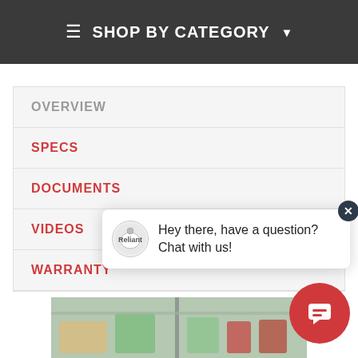☰ SHOP BY CATEGORY ▾
OVERVIEW
SPECS
DOCUMENTS
VIDEOS
WARRANTY
Hey there, have a question? Chat with us!
[Figure (photo): Bottom portion of a refrigerator interior showing food items]